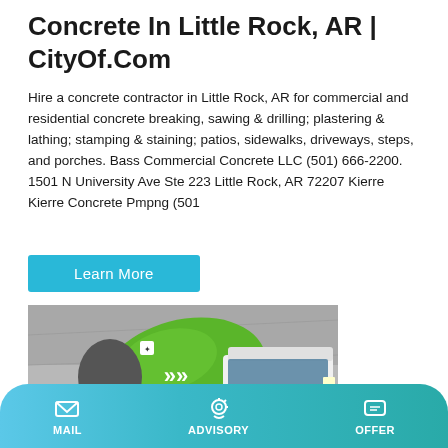Concrete In Little Rock, AR | CityOf.Com
Hire a concrete contractor in Little Rock, AR for commercial and residential concrete breaking, sawing & drilling; plastering & lathing; stamping & staining; patios, sidewalks, driveways, steps, and porches. Bass Commercial Concrete LLC (501) 666-2200. 1501 N University Ave Ste 223 Little Rock, AR 72207 Kierre Kierre Concrete Pmpng (501
Learn More
[Figure (photo): A green and white concrete mixer truck (HOWO brand) with green drum bearing white arrow logo, photographed against a grey concrete wall background.]
MAIL   ADVISORY   OFFER